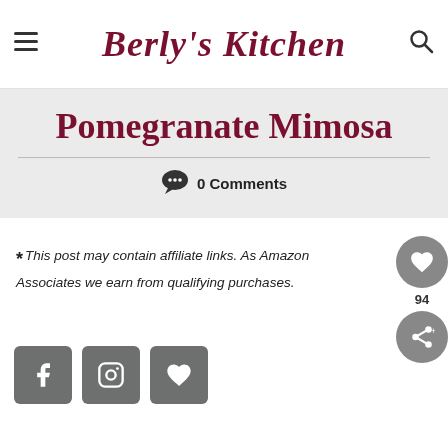Berly's Kitchen
Pomegranate Mimosa
0 Comments
*This post may contain affiliate links. As Amazon Associates we earn from qualifying purchases.